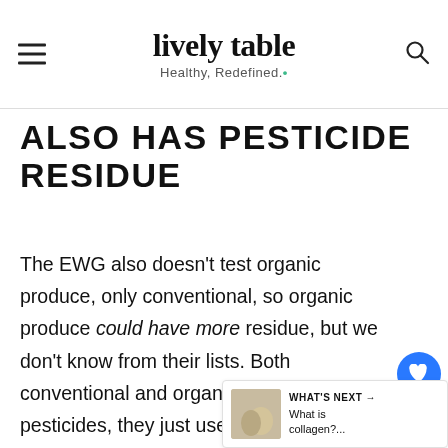lively table — Healthy, Redefined.
ALSO HAS PESTICIDE RESIDUE
The EWG also doesn't test organic produce, only conventional, so organic produce could have more residue, but we don't know from their lists. Both conventional and organic farming use pesticides, they just use differe... And very high exposures of both 'natural' and synthetic pesticides would